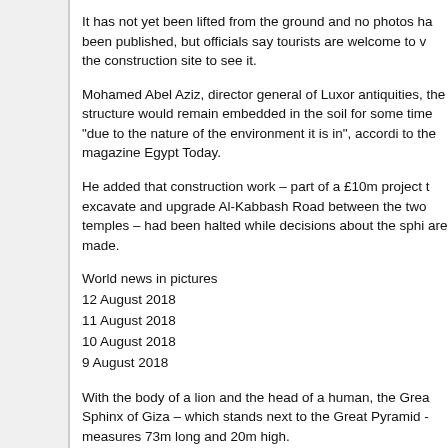It has not yet been lifted from the ground and no photos have been published, but officials say tourists are welcome to visit the construction site to see it.
Mohamed Abel Aziz, director general of Luxor antiquities, said the structure would remain embedded in the soil for some time "due to the nature of the environment it is in", according to the magazine Egypt Today.
He added that construction work – part of a £10m project to excavate and upgrade Al-Kabbash Road between the two temples – had been halted while decisions about the sphinx are made.
World news in pictures
12 August 2018
11 August 2018
10 August 2018
9 August 2018
With the body of a lion and the head of a human, the Great Sphinx of Giza – which stands next to the Great Pyramid – measures 73m long and 20m high.
It dates back to around 2500BC and was probably constructed to resemble the Pharaoh Khafre, historians believe.